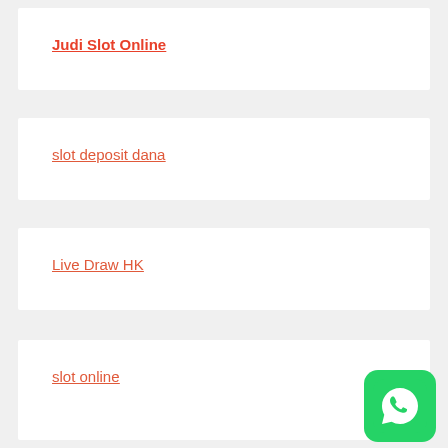Judi Slot Online
slot deposit dana
Live Draw HK
slot online